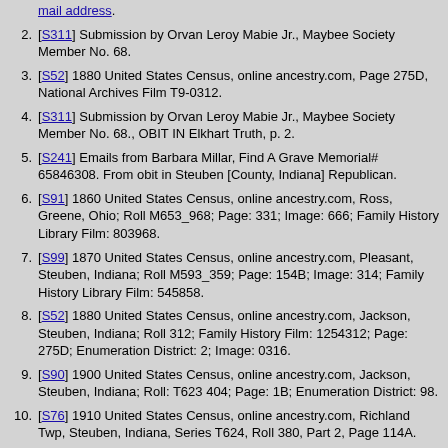mail address.
[S311] Submission by Orvan Leroy Mabie Jr., Maybee Society Member No. 68.
[S52] 1880 United States Census, online ancestry.com, Page 275D, National Archives Film T9-0312.
[S311] Submission by Orvan Leroy Mabie Jr., Maybee Society Member No. 68., OBIT IN Elkhart Truth, p. 2.
[S241] Emails from Barbara Millar, Find A Grave Memorial# 65846308. From obit in Steuben [County, Indiana] Republican.
[S91] 1860 United States Census, online ancestry.com, Ross, Greene, Ohio; Roll M653_968; Page: 331; Image: 666; Family History Library Film: 803968.
[S99] 1870 United States Census, online ancestry.com, Pleasant, Steuben, Indiana; Roll M593_359; Page: 154B; Image: 314; Family History Library Film: 545858.
[S52] 1880 United States Census, online ancestry.com, Jackson, Steuben, Indiana; Roll 312; Family History Film: 1254312; Page: 275D; Enumeration District: 2; Image: 0316.
[S90] 1900 United States Census, online ancestry.com, Jackson, Steuben, Indiana; Roll: T623 404; Page: 1B; Enumeration District: 98.
[S76] 1910 United States Census, online ancestry.com, Richland Twp, Steuben, Indiana, Series T624, Roll 380, Part 2, Page 114A.
[S304] 1920 United States Census, online ancestry.com, Richland Twp, Steuben, Indiana; Roll: T625_461; Page: 2A; Enumeration District: 161; Image: 463.
[S311] Submission by Orvan Leroy Mabie Jr., Maybee Society Member No. 68., Elkhart Truth, p. 2.